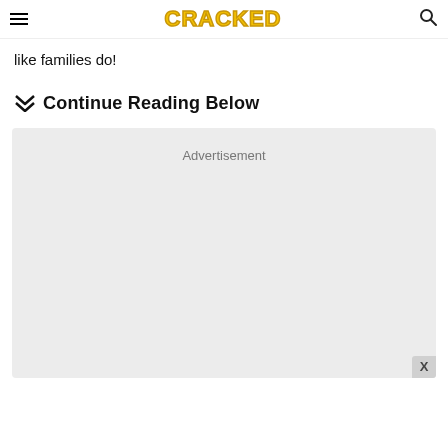CRACKED
like families do!
Continue Reading Below
[Figure (other): Advertisement placeholder box with grey background and 'Advertisement' label centered at top, with an X close button in the bottom right corner]